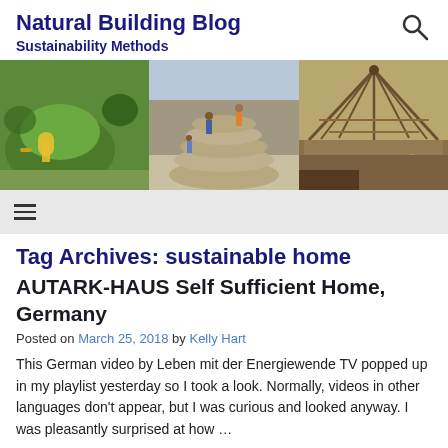Natural Building Blog — Sustainability Methods
[Figure (photo): Three-panel hero image showing natural building scenes: an earthen home with colorful entrance, people stacking earthbags, and a wooden structure framework]
Tag Archives: sustainable home
AUTARK-HAUS Self Sufficient Home, Germany
Posted on March 25, 2018 by Kelly Hart
This German video by Leben mit der Energiewende TV popped up in my playlist yesterday so I took a look. Normally, videos in other languages don't appear, but I was curious and looked anyway. I was pleasantly surprised at how ...
Continue reading →